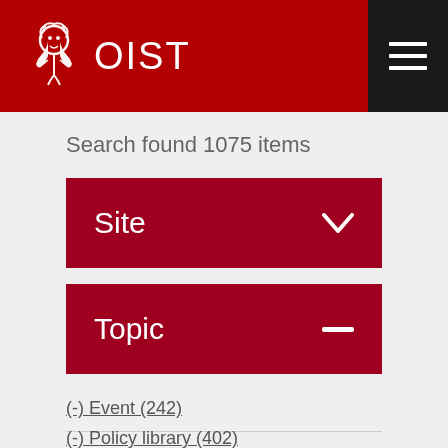OIST
Search found 1075 items
Site
Topic
(-) Event (242)
(-) Policy library (402)
(-) Research support (35)